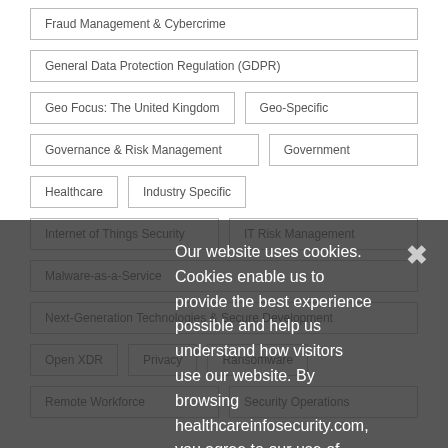Fraud Management & Cybercrime
General Data Protection Regulation (GDPR)
Geo Focus: The United Kingdom
Geo-Specific
Governance & Risk Management
Government
Healthcare
Industry Specific
Internet of Things Security
IT Risk Management
Malware-as-a-Service
Next-Generation Technologies & Secure Development
Open XDR
Privacy
Ransomware
Remote Workforce
Security Operations
Our website uses cookies. Cookies enable us to provide the best experience possible and help us understand how visitors use our website. By browsing healthcareinfosecurity.com, you agree to our use of cookies.